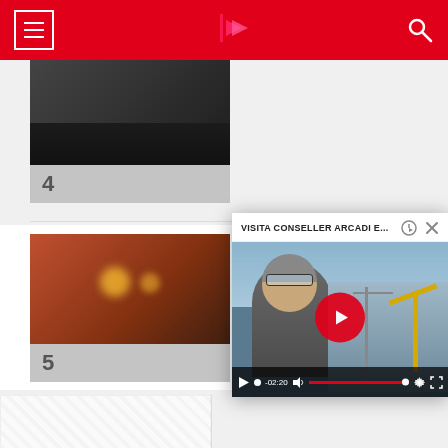Navigation header with hamburger menu, logo, and search icon
[Figure (screenshot): Thumbnail image item 4 with dark photo and number 4 label below]
[Figure (screenshot): Thumbnail image item 5 showing warm-lit indoor scene]
ENCIERRO 6 TOROS EMBOLADOS 9 SEP 2019
BURRIANATEVE   5.4K
[Figure (screenshot): Video popup player showing VISITA CONSELLER ARCADI E... with a man near a port. Video duration -02:20 shown in controls.]